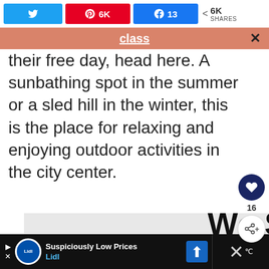[Figure (screenshot): Social media share bar with Twitter, Pinterest (6K), Facebook (13), and share (6K SHARES) buttons]
[Figure (screenshot): Orange notification bar with 'class' link and close X button]
their free day, head here. A sunbathing spot in the summer or a sled hill in the winter, this is the place for relaxing and enjoying outdoor activities in the city center.
[Figure (screenshot): Advertisement banner with 'We Stand Together' text in bold black on gray background with blue X close button]
[Figure (screenshot): Lidl advertisement bar at bottom: 'Suspiciously Low Prices' with Lidl logo and blue arrow navigation button, and dark right panel with X icon]